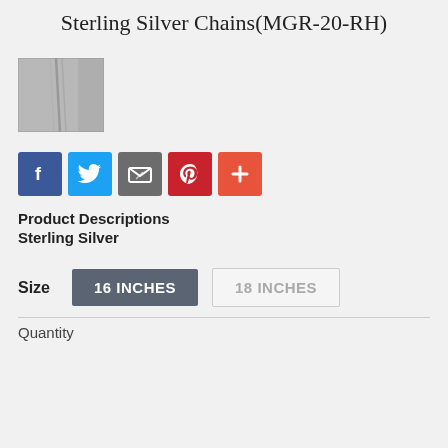Sterling Silver Chains(MGR-20-RH)
[Figure (photo): Small thumbnail photo of a sterling silver chain on a grey background]
[Figure (infographic): Social sharing buttons: Facebook (blue), Twitter (light blue), Email (grey), Pinterest (red), Add/plus (orange-red)]
Product Descriptions
Sterling Silver
Size   16 INCHES   18 INCHES
Quantity